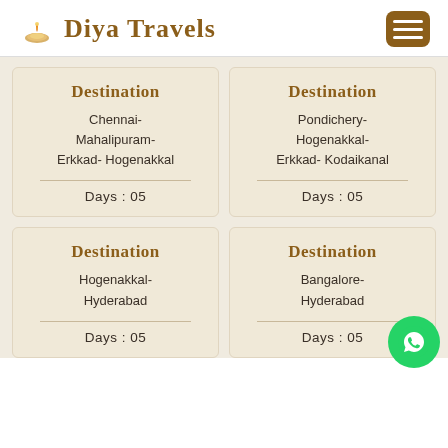Diya Travels
Destination
Chennai-Mahalipuram-Erkkad-Hogenakkal
Days : 05
Destination
Pondichery-Hogenakkal-Erkkad-Kodaikanal
Days : 05
Destination
Hogenakkal-Hyderabad
Days : 05
Destination
Bangalore-Hyderabad
Days : 05